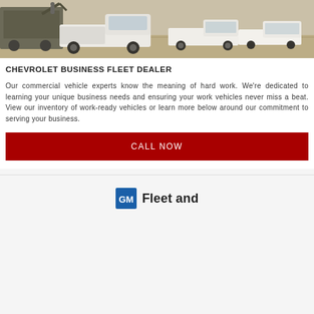[Figure (photo): Photo of white Chevrolet pickup trucks and work vehicles on a dirt/construction site with equipment in background]
CHEVROLET BUSINESS FLEET DEALER
Our commercial vehicle experts know the meaning of hard work. We're dedicated to learning your unique business needs and ensuring your work vehicles never miss a beat. View our inventory of work-ready vehicles or learn more below around our commitment to serving your business.
CALL NOW
[Figure (logo): GM Fleet and [partial text] logo with blue GM square logo icon on left and bold text on right]